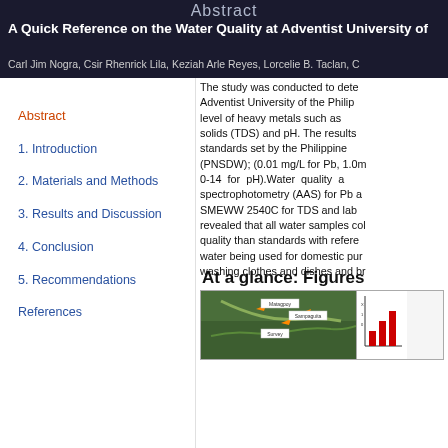Abstract
A Quick Reference on the Water Quality at Adventist University of the Philippines
Carl Jim Nogra, Csir Rhenrick Lila, Keziah Arle Reyes, Lorcelie B. Taclan, C...
Abstract
1. Introduction
2. Materials and Methods
3. Results and Discussion
4. Conclusion
5. Recommendations
References
The study was conducted to determine the water quality at Adventist University of the Philippines level of heavy metals such as solids (TDS) and pH. The results standards set by the Philippine (PNSDW); (0.01 mg/L for Pb, 1.0m 0-14 for pH).Water quality a spectrophotometry (AAS) for Pb a SMEWW 2540C for TDS and lab revealed that all water samples col quality than standards with refere water being used for domestic pur washing clothes and dishes and br
At a glance: Figures
[Figure (map): Satellite map image showing water sampling locations at Adventist University of the Philippines with orange arrows and labeled locations including Matagpoy, Sampaguita, and other sites]